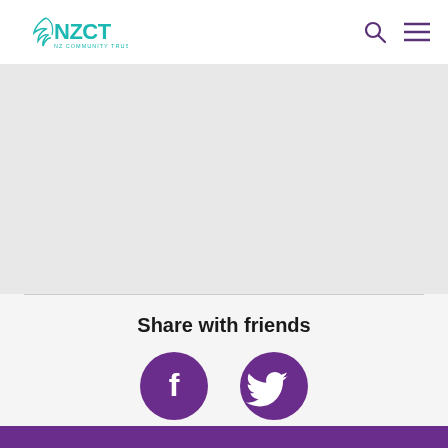NZCT NZ Community Trust
[Figure (other): Gray textured background content area]
Share with friends
[Figure (other): Facebook and Twitter social share buttons (purple circles with white icons)]